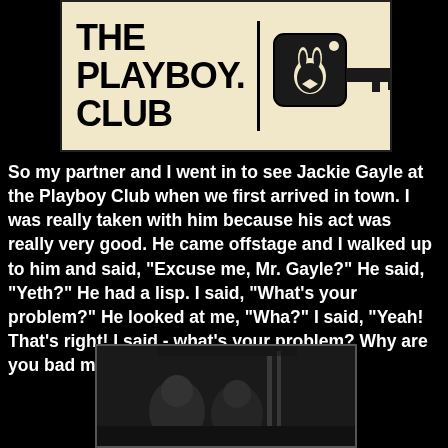[Figure (logo): The Playboy Club logo with text 'THE PLAYBOY CLUB' on the left side and a Playboy bunny key icon on the right side, on a cream/tan background]
So my partner and I went in to see Jackie Gayle at the Playboy Club when we first arrived in town. I was really taken with him because his act was really very good. He came offstage and I walked up to him and said, "Excuse me, Mr. Gayle?" He said, "Yeth?" He had a lisp. I said, "What's your problem?" He looked at me, "Wha?" I said, "Yeah! That's right! I said - what's your problem? Why are you bad mouthing me all over the place?"
[Figure (photo): Black and white photograph showing people in what appears to be a dimly lit venue or club setting]